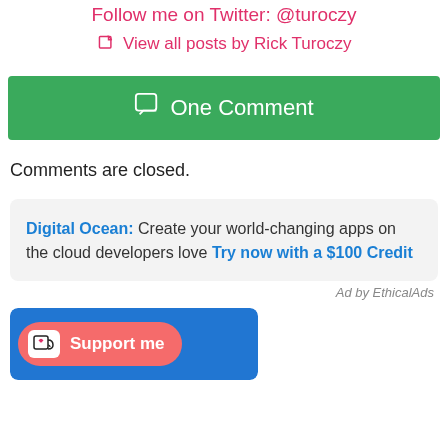Follow me on Twitter: @turoczy
View all posts by Rick Turoczy
One Comment
Comments are closed.
Digital Ocean: Create your world-changing apps on the cloud developers love Try now with a $100 Credit
Ad by EthicalAds
[Figure (screenshot): Support me button with Ko-fi cup icon on a blue background]